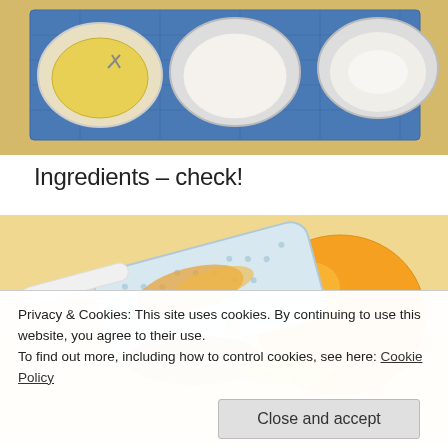[Figure (photo): Top-down view of baking ingredients in bowls on a blue cloth: a bowl of liquid (egg?), a bowl of white cream/yogurt, and a bowl of flour, on a light wooden surface.]
Ingredients – check!
[Figure (photo): Close-up photo of a grater with orange/lemon zest on it, a whole orange/lemon fruit in the background, and a yellow banana nearby, on a light surface.]
Privacy & Cookies: This site uses cookies. By continuing to use this website, you agree to their use.
To find out more, including how to control cookies, see here: Cookie Policy
Close and accept